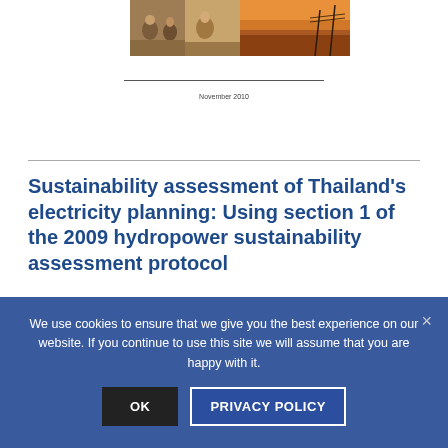[Figure (photo): A composite cover image showing people (children sitting on the ground) on the left and a water/landscape scene on the right, typical of a report cover.]
November 2010
Sustainability assessment of Thailand's electricity planning: Using section 1 of the 2009 hydropower sustainability assessment protocol
Author: Evan To Remington R...
We use cookies to ensure that we give you the best experience on our website. If you continue to use this site we will assume that you are happy with it.